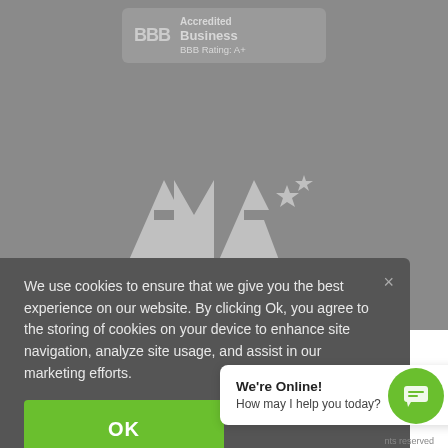[Figure (logo): BBB Accredited Business badge with BBB Rating: A+]
[Figure (logo): American Motorcyclist Association (AMA) logo in gray/white]
We use cookies to ensure that we give you the best experience on our website. By clicking Ok, you agree to the storing of cookies on your device to enhance site navigation, analyze site usage, and assist in our marketing efforts.
OK
We're Online! How may I help you today?
nts reserved